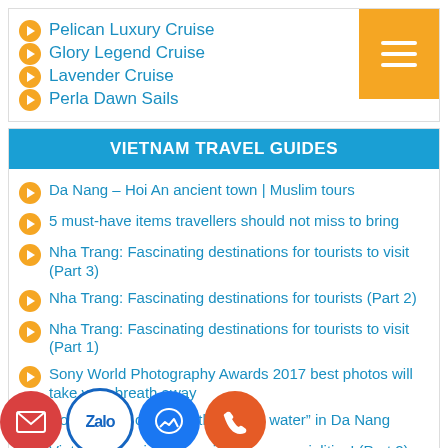Pelican Luxury Cruise
Glory Legend Cruise
Lavender Cruise
Perla Dawn Sails
VIETNAM TRAVEL GUIDES
Da Nang – Hoi An ancient town | Muslim tours
5 must-have items travellers should not miss to bring
Nha Trang: Fascinating destinations for tourists to visit (Part 3)
Nha Trang: Fascinating destinations for tourists (Part 2)
Nha Trang: Fascinating destinations for tourists to visit (Part 1)
Sony World Photography Awards 2017 best photos will take your breath away
Rong bridge can “breath fire and water” in Da Nang
Viet Nam Tourism: b...enjoy some specialities! (Part 2)
Viet Nam Tourism: ...joy some specialities! (Part 1)
4 amazing experiences in Phu Quoc that most people do not